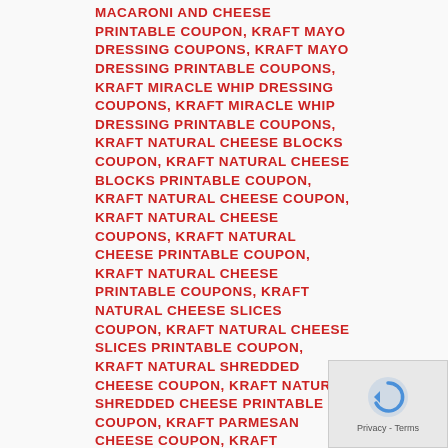MACARONI AND CHEESE PRINTABLE COUPON, KRAFT MAYO DRESSING COUPONS, KRAFT MAYO DRESSING PRINTABLE COUPONS, KRAFT MIRACLE WHIP DRESSING COUPONS, KRAFT MIRACLE WHIP DRESSING PRINTABLE COUPONS, KRAFT NATURAL CHEESE BLOCKS COUPON, KRAFT NATURAL CHEESE BLOCKS PRINTABLE COUPON, KRAFT NATURAL CHEESE COUPON, KRAFT NATURAL CHEESE COUPONS, KRAFT NATURAL CHEESE PRINTABLE COUPON, KRAFT NATURAL CHEESE PRINTABLE COUPONS, KRAFT NATURAL CHEESE SLICES COUPON, KRAFT NATURAL CHEESE SLICES PRINTABLE COUPON, KRAFT NATURAL SHREDDED CHEESE COUPON, KRAFT NATURAL SHREDDED CHEESE PRINTABLE COUPON, KRAFT PARMESAN CHEESE COUPON, KRAFT PHILADELPHIA CREAM CHEESE COUPON, KRAFT PHILADELPHIA CREAM CHEESE COUPONS, KRAFT PHILADELPHIA CREAM CHEESE PRINTABLE COUPON, KRAFT PHILADELPHIA CREAM CHEESE PRINTABLE COUPONS, KRAFT PHILADELPHIA CREAM CHEESE SPREAD COUPONS, KRAFT PHILADELPHIA CREAM CHEESE SPREAD PRINTABLE COUPONS, KRAFT PRINTABLE COUPONS, KRAFT SALAD DRESSING COUPON, KRAFT SALAD DRESSING COUPONS, KRAFT SALAD DRESSING DIGITAL COUPON, KRAFT SALAD DRESSING PRINTABLE COUPON, KRAFT SALAD DRESSING
[Figure (other): reCAPTCHA widget showing a circular arrow icon and 'Privacy - Terms' text]